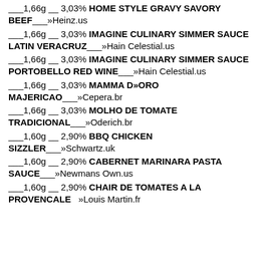___1,66g __ 3,03% HOME STYLE GRAVY SAVORY BEEF___»Heinz.us
___1,66g __ 3,03% IMAGINE CULINARY SIMMER SAUCE LATIN VERACRUZ___»Hain Celestial.us
___1,66g __ 3,03% IMAGINE CULINARY SIMMER SAUCE PORTOBELLO RED WINE___»Hain Celestial.us
___1,66g __ 3,03% MAMMA D»ORO MAJERICAO___»Cepera.br
___1,66g __ 3,03% MOLHO DE TOMATE TRADICIONAL___»Oderich.br
___1,60g __ 2,90% BBQ CHICKEN SIZZLER___»Schwartz.uk
___1,60g __ 2,90% CABERNET MARINARA PASTA SAUCE___»Newmans Own.us
___1,60g __ 2,90% CHAIR DE TOMATES A LA PROVENCALE   »Louis Martin.fr